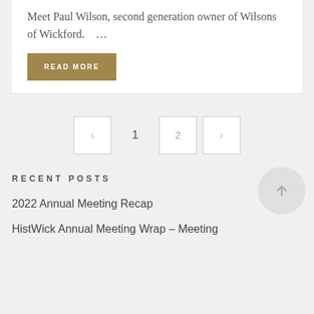Meet Paul Wilson, second generation owner of Wilsons of Wickford.    …
READ MORE
< 1 2 >
RECENT POSTS
2022 Annual Meeting Recap
HistWick Annual Meeting Wrap – Meeting